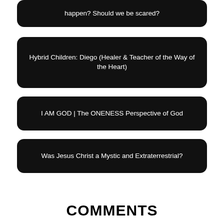happen? Should we be scared?
Hybrid Children: Diego (Healer & Teacher of the Way of the Heart)
I AM GOD | The ONENESS Perspective of God
Was Jesus Christ a Mystic and Extraterrestrial?
COMMENTS